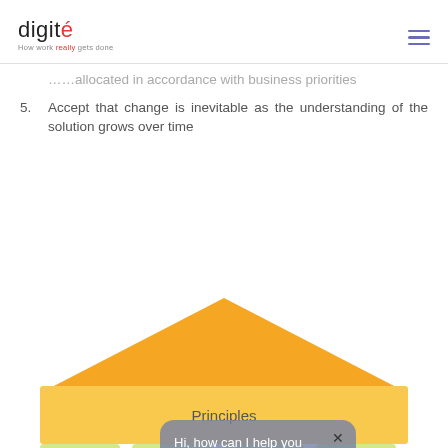digité – How work really gets done
…allocated in accordance with business priorities
5. Accept that change is inevitable as the understanding of the solution grows over time
[Figure (infographic): Pyramid/house diagram showing 'Principles' label in an orange-yellow band, with smaller yellow boxes at the bottom representing further layers. A chat bubble overlays the diagram saying 'Hi, how can I help you today?' with a close button, and a teal/dark-blue chat icon in the lower right.]